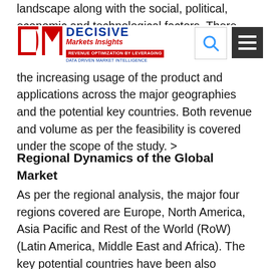landscape along with the social, political, economic and technological factors. There are huge opportunities across different application and end-use sectors along with the increasing usage of the product and applications across the major geographies and the potential key countries. Both revenue and volume as per the feasibility is covered under the scope of the study. >
Regional Dynamics of the Global Market
As per the regional analysis, the major four regions covered are Europe, North America, Asia Pacific and Rest of the World (RoW) (Latin America, Middle East and Africa). The key potential countries have been also covered under these respective major geographies. For an instance, North America is further bi-furcated into the U.S., Canada and Mexico. Europe covers France, UK, Germany, Italy and Others. The countries covered under the scope of Asia Pacific regions are India, China, Japan,